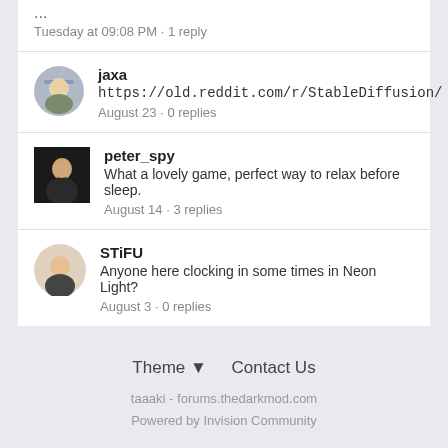... Tuesday at 09:08 PM · 1 reply
jaxa
https://old.reddit.com/r/StableDiffusion/
August 23 · 0 replies
peter_spy
What a lovely game, perfect way to relax before sleep.
August 14 · 3 replies
STiFU
Anyone here clocking in some times in Neon Light?
August 3 · 0 replies
Theme ▼   Contact Us
taaaki - forums.thedarkmod.com
Powered by Invision Community